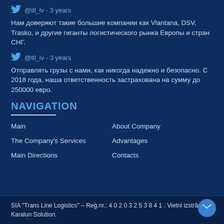@tll_lv - 3 years
Нам доверяют такие большие компании как Vlantana, DSV, Trasko, и другие гиганты логистического рынка Европы и стран СНГ.
@tll_lv - 3 years
Отправлять грузы с нами, как никогда надежно и безопасно. С 2018 года, наша ответственность застрахована на сумму до 250000 евро.
NAVIGATION
Main
About Company
The Company's Services
Advantages
Main Directions
Contacts
SIA "Trans Line Logistics" – Reģ.nr.: 4 0 2 0 3 2 5 3 8 4 1 . Vietni izstrādāja Karalun Solution.